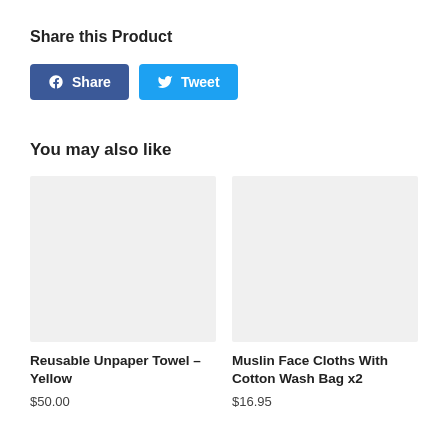Share this Product
[Figure (other): Facebook Share button and Twitter Tweet button]
You may also like
[Figure (photo): Product image placeholder for Reusable Unpaper Towel - Yellow]
Reusable Unpaper Towel - Yellow
$50.00
[Figure (photo): Product image placeholder for Muslin Face Cloths With Cotton Wash Bag x2]
Muslin Face Cloths With Cotton Wash Bag x2
$16.95